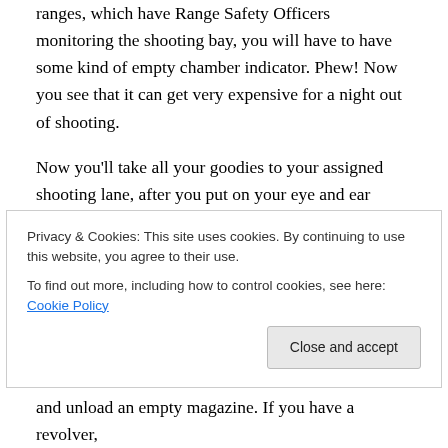ranges, which have Range Safety Officers monitoring the shooting bay, you will have to have some kind of empty chamber indicator. Phew! Now you see that it can get very expensive for a night out of shooting.
Now you'll take all your goodies to your assigned shooting lane, after you put on your eye and ear protection. At this point, do not un-case your firearm until you are at your lane, making sure that when you do it will be pointed down range. If it's an indoor range, the lane will have either a mechanical or an electronic target holder. If it's an outdoor
Privacy & Cookies: This site uses cookies. By continuing to use this website, you agree to their use.
To find out more, including how to control cookies, see here: Cookie Policy
and unload an empty magazine. If you have a revolver,